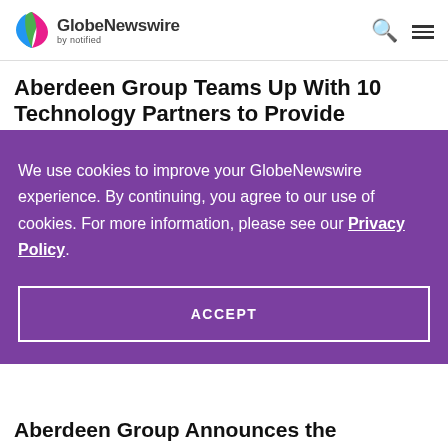GlobeNewswire by notified
Aberdeen Group Teams Up With 10 Technology Partners to Provide
We use cookies to improve your GlobeNewswire experience. By continuing, you agree to our use of cookies. For more information, please see our Privacy Policy.
ACCEPT
Aberdeen Group Announces the